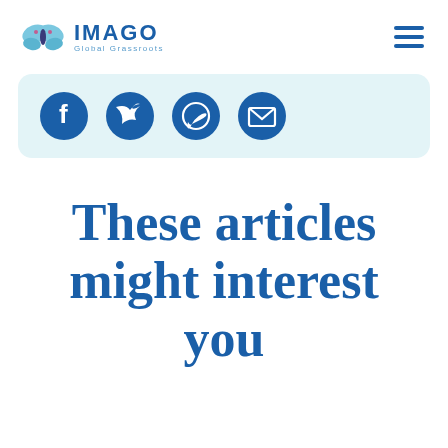IMAGO Global Grassroots
[Figure (logo): IMAGO Global Grassroots logo with butterfly icon and navigation hamburger menu]
[Figure (infographic): Social sharing icons: Facebook, Twitter, WhatsApp, Email on light blue rounded background]
These articles might interest you